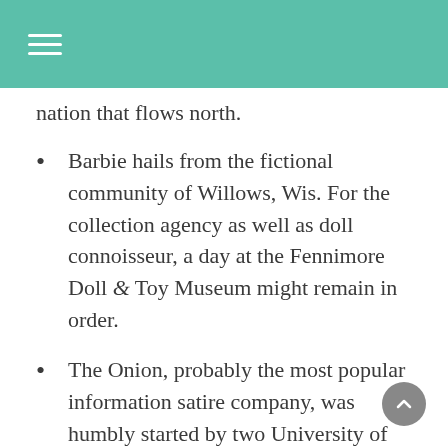nation that flows north.
Barbie hails from the fictional community of Willows, Wis. For the collection agency as well as doll connoisseur, a day at the Fennimore Doll & Toy Museum might remain in order.
The Onion, probably the most popular information satire company, was humbly started by two University of Wisconsin–Madison trainees, Tim Keck as well as Christopher Johnson, in 1988.